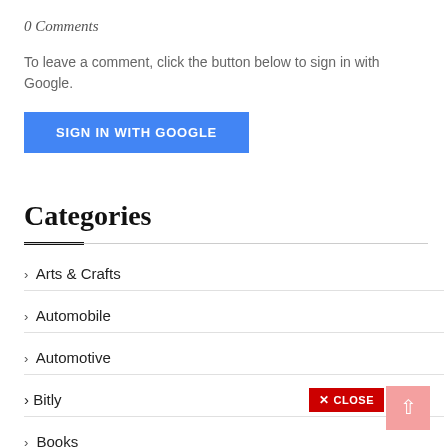0 Comments
To leave a comment, click the button below to sign in with Google.
[Figure (other): Blue 'SIGN IN WITH GOOGLE' button]
Categories
Arts & Crafts
Automobile
Automotive
Bitly
Books
Business